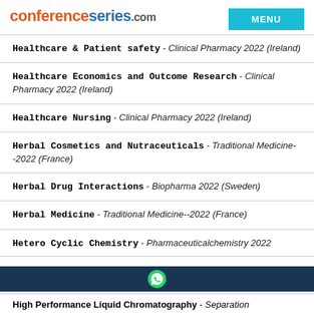conferenceseries.com
Healthcare & Patient safety - Clinical Pharmacy 2022 (Ireland)
Healthcare Economics and Outcome Research - Clinical Pharmacy 2022 (Ireland)
Healthcare Nursing - Clinical Pharmacy 2022 (Ireland)
Herbal Cosmetics and Nutraceuticals - Traditional Medicine--2022 (France)
Herbal Drug Interactions - Biopharma 2022 (Sweden)
Herbal Medicine - Traditional Medicine--2022 (France)
Hetero Cyclic Chemistry - Pharmaceuticalchemistry 2022 (Ireland)
High Performance Liquid Chromatography - Separation